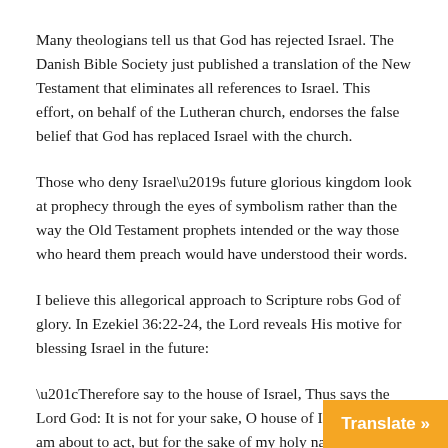Many theologians tell us that God has rejected Israel. The Danish Bible Society just published a translation of the New Testament that eliminates all references to Israel. This effort, on behalf of the Lutheran church, endorses the false belief that God has replaced Israel with the church.
Those who deny Israel's future glorious kingdom look at prophecy through the eyes of symbolism rather than the way the Old Testament prophets intended or the way those who heard them preach would have understood their words.
I believe this allegorical approach to Scripture robs God of glory. In Ezekiel 36:22-24, the Lord reveals His motive for blessing Israel in the future:
“Therefore say to the house of Israel, Thus says the Lord God: It is not for your sake, O house of Israel, that I am about to act, but for the sake of my holy name, which you have profaned among the nations to which you
Translate »